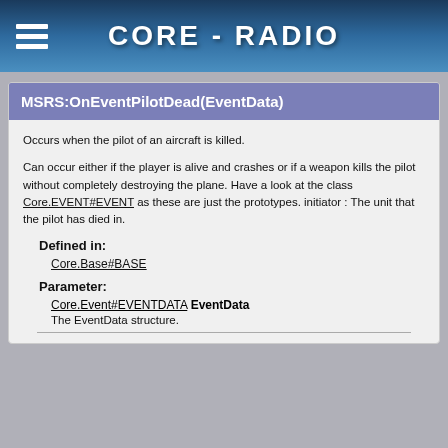CORE - RADIO
MSRS:OnEventPilotDead(EventData)
Occurs when the pilot of an aircraft is killed.
Can occur either if the player is alive and crashes or if a weapon kills the pilot without completely destroying the plane. Have a look at the class Core.EVENT#EVENT as these are just the prototypes. initiator : The unit that the pilot has died in.
Defined in:
Core.Base#BASE
Parameter:
Core.Event#EVENTDATA EventData
The EventData structure.